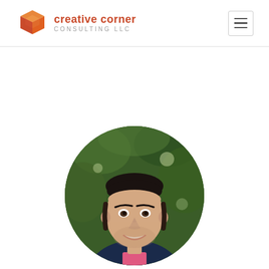creative corner CONSULTING LLC
[Figure (photo): Circular portrait photo of a young man with dark hair slicked back, wearing a pink shirt and navy jacket, smiling, with a green leafy background]